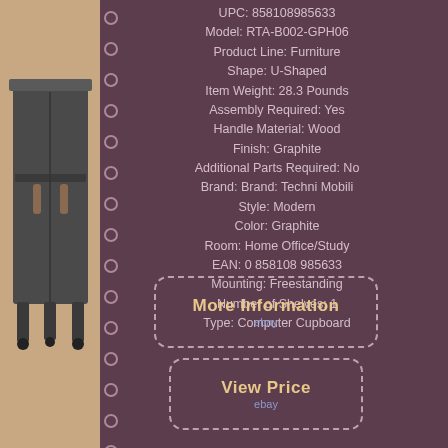[Figure (photo): Product image of a graphite U-shaped computer desk/cupboard against a light beige background, showing the desk from the front with visible legs]
UPC: 858108985633
Model: RTA-B002-GPH06
Product Line: Furniture
Shape: U-Shaped
Item Weight: 28.3 Pounds
Assembly Required: Yes
Handle Material: Wood
Finish: Graphite
Additional Parts Required: No
Brand: Brand: Techni Mobili
Style: Modern
Color: Graphite
Room: Home Office/Study
EAN: 0 858108 985633
Mounting: Freestanding
Number of Shelves: 1
Type: Computer Cupboard
[Figure (other): Dashed-border rounded rectangle button labeled 'More Information' with 'ebay' subtitle in blue]
[Figure (other): Dashed-border rounded rectangle button labeled 'View Price' with 'ebay' subtitle in blue]